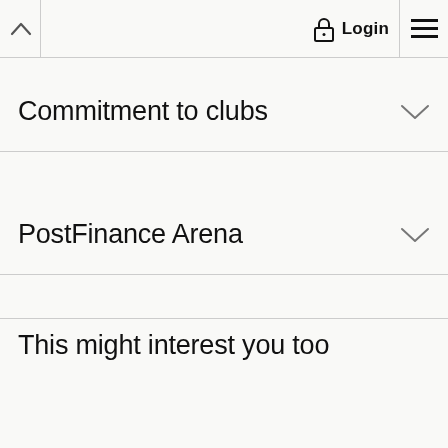Login
Commitment to clubs
PostFinance Arena
This might interest you too